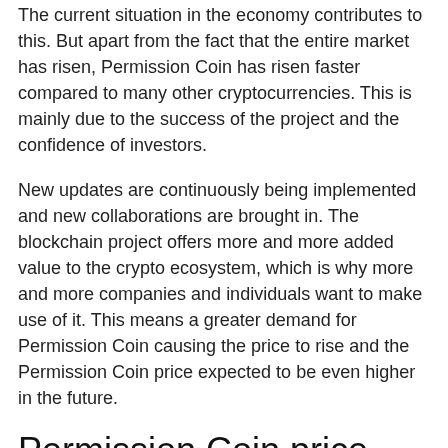The current situation in the economy contributes to this. But apart from the fact that the entire market has risen, Permission Coin has risen faster compared to many other cryptocurrencies. This is mainly due to the success of the project and the confidence of investors.
New updates are continuously being implemented and new collaborations are brought in. The blockchain project offers more and more added value to the crypto ecosystem, which is why more and more companies and individuals want to make use of it. This means a greater demand for Permission Coin causing the price to rise and the Permission Coin price expected to be even higher in the future.
Permission Coin price prediction
It is clear that Permission Coin has risen sharply, but what is the prediction for 2022? This is always a difficult thing to predict. Cryptocurrencies are a lot more volatile than